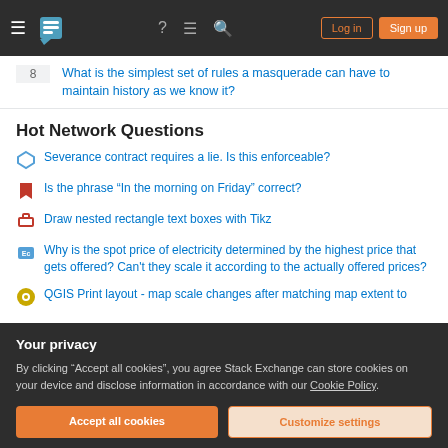Stack Exchange navigation bar with Log in and Sign up buttons
8  What is the simplest set of rules a masquerade can have to maintain history as we know it?
Hot Network Questions
Severance contract requires a lie. Is this enforceable?
Is the phrase “In the morning on Friday” correct?
Draw nested rectangle text boxes with Tikz
Why is the spot price of electricity determined by the highest price that gets offered? Can't they scale it according to the actually offered prices?
QGIS Print layout - map scale changes after matching map extent to
Your privacy
By clicking “Accept all cookies”, you agree Stack Exchange can store cookies on your device and disclose information in accordance with our Cookie Policy.
Accept all cookies   Customize settings